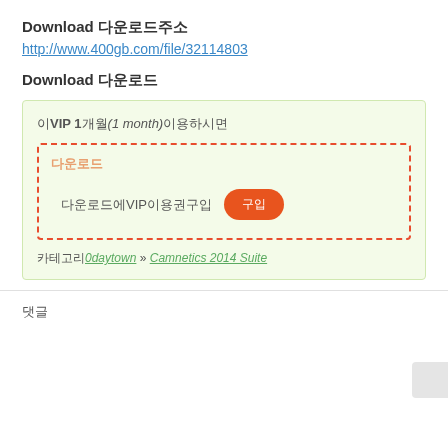Download 다운로드주소
http://www.400gb.com/file/32114803
Download 다운로드
이VIP 1개월(1 month)이용하시면
다운로드
다운로드에VIP이용권구입 구입
카테고리0daytown » Camnetics 2014 Suite
댓글